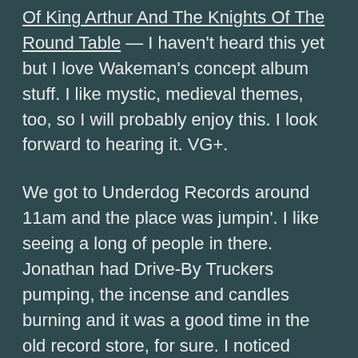Of King Arthur And The Knights Of The Round Table — I haven't heard this yet but I love Wakeman's concept album stuff. I like mystic, medieval themes, too, so I will probably enjoy this. I look forward to hearing it. VG+.
We got to Underdog Records around 11am and the place was jumpin'. I like seeing a long of people in there. Jonathan had Drive-By Truckers pumping, the incense and candles burning and it was a good time in the old record store, for sure. I noticed Jonathan had a lot of used stereo equipment like equalizers, cassette decks, receivers and even a CD changer. Those were all the "black-faced" late 80s/90s stuff that for whatever reason people